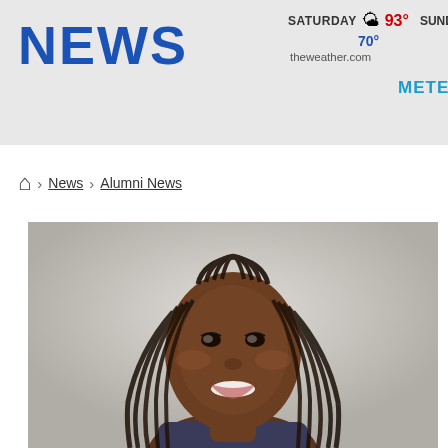NEWS
SATURDAY 93° SUNDAY 70° theweather.com METEOR
> News > Alumni News
[Figure (photo): Headshot of a young woman with long braided hair, smiling, against a light grey background]